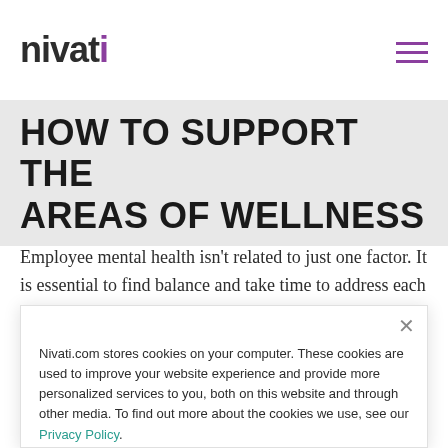nivati
HOW TO SUPPORT THE AREAS OF WELLNESS
Employee mental health isn't related to just one factor. It is essential to find balance and take time to address each area of wellness and create a
Nivati.com stores cookies on your computer. These cookies are used to improve your website experience and provide more personalized services to you, both on this website and through other media. To find out more about the cookies we use, see our Privacy Policy.
Great!